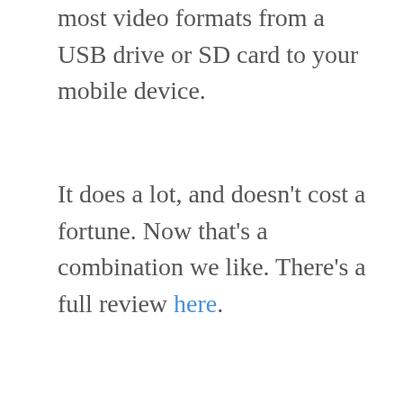most video formats from a USB drive or SD card to your mobile device.
It does a lot, and doesn't cost a fortune. Now that's a combination we like. There's a full review here.
[Figure (other): Red rounded rectangle button with white bold text reading 'Buy from RAVPower']
Got any other mobile storage gadgets you'd recommend? Share 'em in the comments!